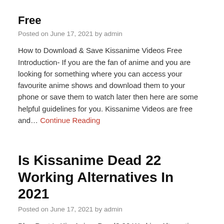Free
Posted on June 17, 2021 by admin
How to Download & Save Kissanime Videos Free Introduction- If you are the fan of anime and you are looking for something where you can access your favourite anime shows and download them to your phone or save them to watch later then here are some helpful guidelines for you. Kissanime Videos are free and… Continue Reading
Is Kissanime Dead 22 Working Alternatives In 2021
Posted on June 17, 2021 by admin
Blog Post Is KissAnime Dead? 22 Working Alternatives in